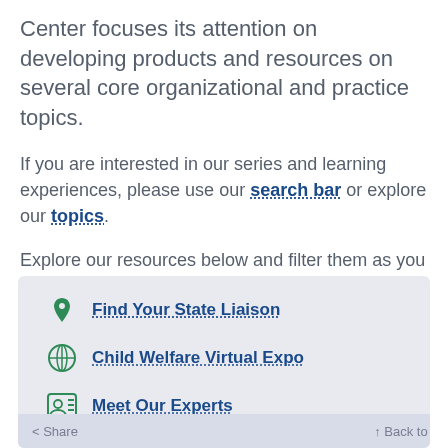Center focuses its attention on developing products and resources on several core organizational and practice topics.
If you are interested in our series and learning experiences, please use our search bar or explore our topics.
Explore our resources below and filter them as you need.
Find Your State Liaison
Child Welfare Virtual Expo
Meet Our Experts